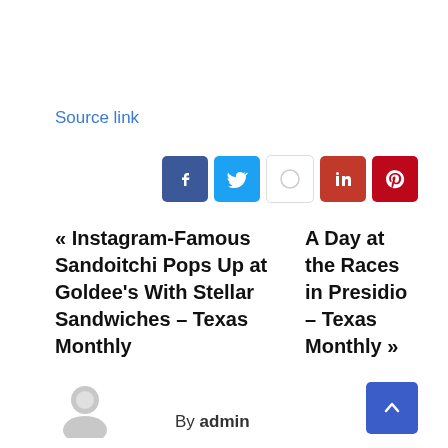Source link
[Figure (other): Social share buttons: Facebook, Twitter, WhatsApp, LinkedIn, Pinterest]
« Instagram-Famous Sandoitchi Pops Up at Goldee's With Stellar Sandwiches – Texas Monthly
A Day at the Races in Presidio – Texas Monthly »
By admin
[Figure (other): Scroll to top button (blue arrow up)]